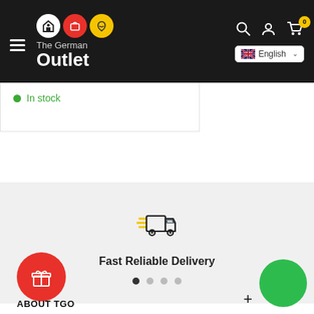[Figure (screenshot): The German Outlet website header with logo (three circles: white, red, gold with icons), hamburger menu, search, account, cart icons, and English language selector]
In stock
[Figure (illustration): Fast delivery truck icon with speed lines in dark outline style]
Fast Reliable Delivery
We deliver all over Lebanon with Wakilni
[Figure (illustration): Carousel pagination dots, four dots with first active]
[Figure (illustration): Red circle button with gift/present icon]
[Figure (illustration): Green circle chat/support button]
ABOUT TGO